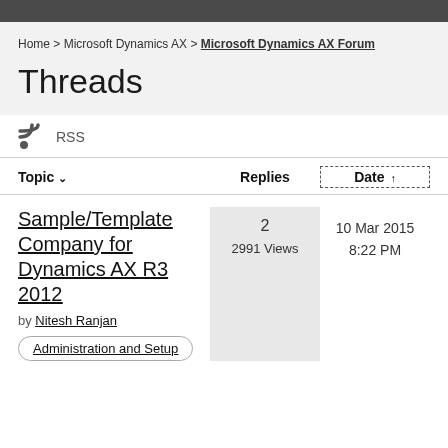Home > Microsoft Dynamics AX > Microsoft Dynamics AX Forum
Threads
RSS
| Topic | Replies | Date |
| --- | --- | --- |
| Sample/Template Company for Dynamics AX R3 2012 by Nitesh Ranjan [Administration and Setup] | 2
2991 Views | 10 Mar 2015
8:22 PM |